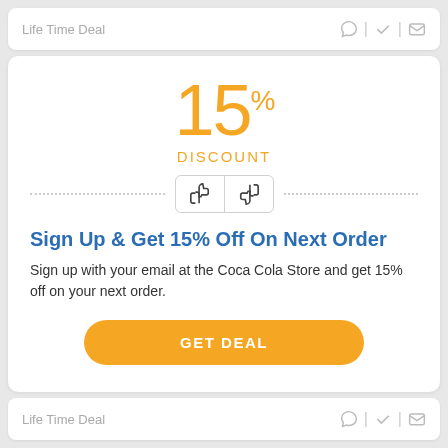Life Time Deal
15% DISCOUNT
[Figure (other): Thumbs up and thumbs down rating buttons inside a dotted divider row]
Sign Up & Get 15% Off On Next Order
Sign up with your email at the Coca Cola Store and get 15% off on your next order.
GET DEAL
Life Time Deal